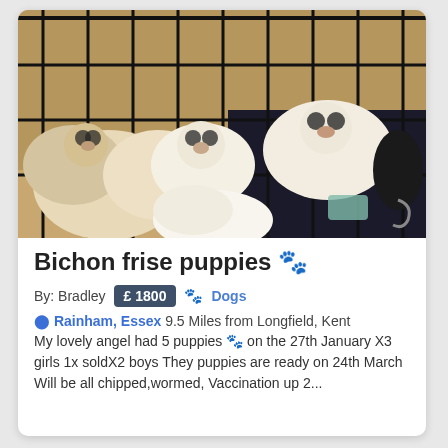[Figure (photo): Several Bichon Frise puppies, mostly white and cream colored, inside a black wire dog crate with a dark-colored bed/mat]
Bichon frise puppies 🐾
By: Bradley  £ 1800  🐾 Dogs
📍 Rainham, Essex 9.5 Miles from Longfield, Kent My lovely angel had 5 puppies 🐾 on the 27th January X3 girls 1x soldX2 boys They puppies are ready on 24th March Will be all chipped,wormed, Vaccination up 2...